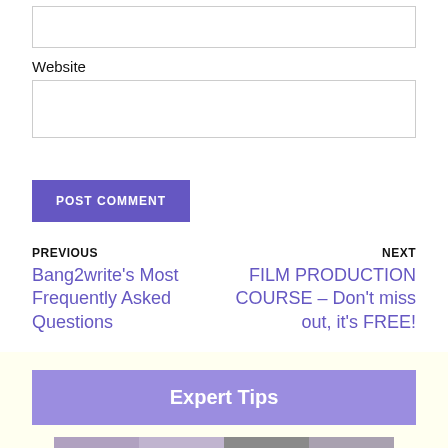Website
POST COMMENT
PREVIOUS
Bang2write's Most Frequently Asked Questions
NEXT
FILM PRODUCTION COURSE – Don't miss out, it's FREE!
Expert Tips
[Figure (photo): A strip of four people's photos]